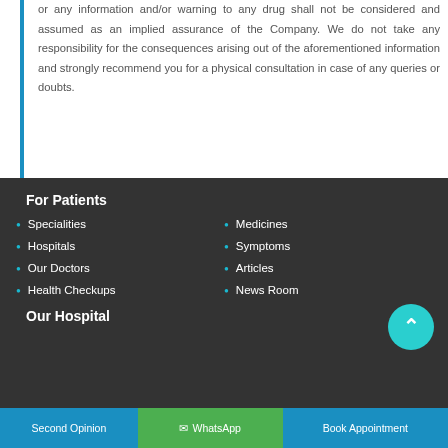or any information and/or warning to any drug shall not be considered and assumed as an implied assurance of the Company. We do not take any responsibility for the consequences arising out of the aforementioned information and strongly recommend you for a physical consultation in case of any queries or doubts.
For Patients
Specialities
Medicines
Hospitals
Symptoms
Our Doctors
Articles
Health Checkups
News Room
Our Hospital
Second Opinion | WhatsApp | Book Appointment